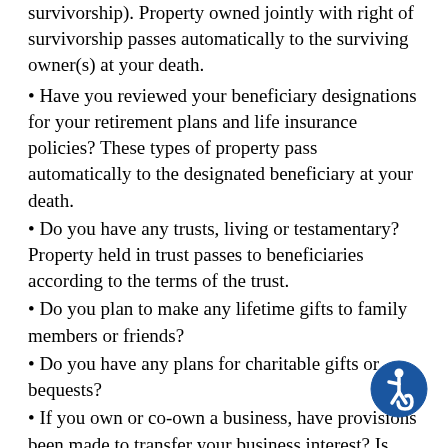survivorship). Property owned jointly with right of survivorship passes automatically to the surviving owner(s) at your death.
Have you reviewed your beneficiary designations for your retirement plans and life insurance policies? These types of property pass automatically to the designated beneficiary at your death.
Do you have any trusts, living or testamentary? Property held in trust passes to beneficiaries according to the terms of the trust.
Do you plan to make any lifetime gifts to family members or friends?
Do you have any plans for charitable gifts or bequests?
If you own or co-own a business, have provisions been made to transfer your business interest? Is there a buy-sell agreement with adequate funding? Would lifetime gifts be appropriate?
Do you own sufficient life insurance to meet